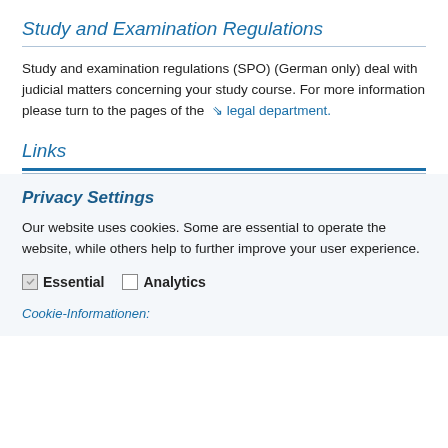Study and Examination Regulations
Study and examination regulations (SPO) (German only) deal with judicial matters concerning your study course. For more information please turn to the pages of the ↘ legal department.
Links
Privacy Settings
Our website uses cookies. Some are essential to operate the website, while others help to further improve your user experience.
Essential   Analytics
Cookie-Informationen: